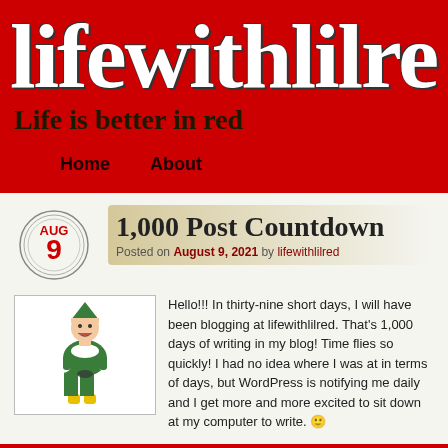lifewithlilre
Life is better in red
Home   About
1,000 Post Countdown
Posted on August 9, 2021 by lifewithlilred
[Figure (photo): Person dressed as Buddy the Elf from the movie Elf, wearing a green costume with white collar, holding something in white-gloved hands]
Hello!!! In thirty-nine short days, I will have been blogging at lifewithlilred. That's 1,000 days of writing in my blog! Time flies so quickly! I had no idea where I was at in terms of days, but WordPress is notifying me daily and I get more and more excited to sit down at my computer to write. 🙂